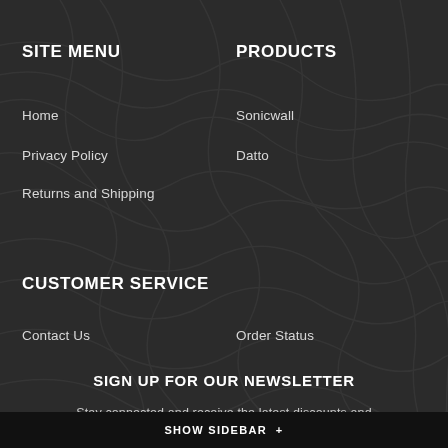SITE MENU
PRODUCTS
Home
Sonicwall
Privacy Policy
Datto
Returns and Shipping
CUSTOMER SERVICE
Contact Us
Order Status
SIGN UP FOR OUR NEWSLETTER
Stay connected and receive the latest discounts and
SHOW SIDEBAR +